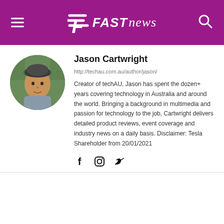FAST news
[Figure (photo): Circular profile photo of Jason Cartwright, a man wearing a cap outdoors]
Jason Cartwright
http://techau.com.au/author/jason/
Creator of techAU, Jason has spent the dozen+ years covering technology in Australia and around the world. Bringing a background in multimedia and passion for technology to the job, Cartwright delivers detailed product reviews, event coverage and industry news on a daily basis. Disclaimer: Tesla Shareholder from 20/01/2021
[Figure (illustration): Social media icons: Facebook, Instagram, Twitter]